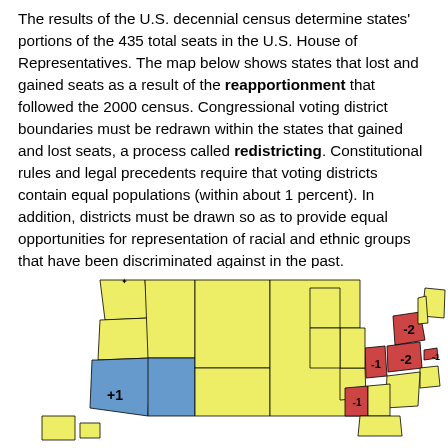The results of the U.S. decennial census determine states' portions of the 435 total seats in the U.S. House of Representatives. The map below shows states that lost and gained seats as a result of the reapportionment that followed the 2000 census. Congressional voting district boundaries must be redrawn within the states that gained and lost seats, a process called redistricting. Constitutional rules and legal precedents require that voting districts contain equal populations (within about 1 percent). In addition, districts must be drawn so as to provide equal opportunities for representation of racial and ethnic groups that have been discriminated against in the past.
[Figure (map): Map of the United States showing states that gained and lost seats in the House of Representatives after the 2000 census reapportionment. States shaded in red lost seats (with numbers like -1, -2), states shaded in blue gained seats (with +1), and states shaded in yellow had no change.]